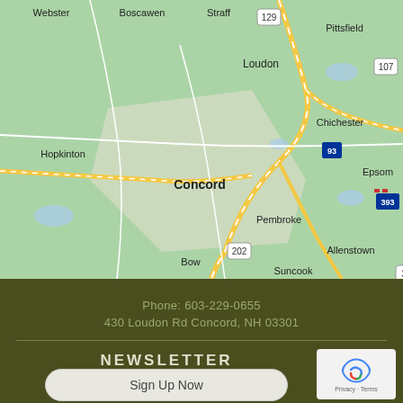[Figure (map): Google Maps view of Concord, NH area showing surrounding towns including Webster, Boscawen, Loudon, Pittsfield, Chichester, Epsom, Hopkinton, Concord, Pembroke, Allenstown, Bow, Suncook, Deerfield, and Bear Brook State Park. Route markers for 129, 107, 93, 393, 202, 3, 77, 43 visible.]
Phone: 603-229-0655
430 Loudon Rd Concord, NH 03301
NEWSLETTER
Sign Up Now